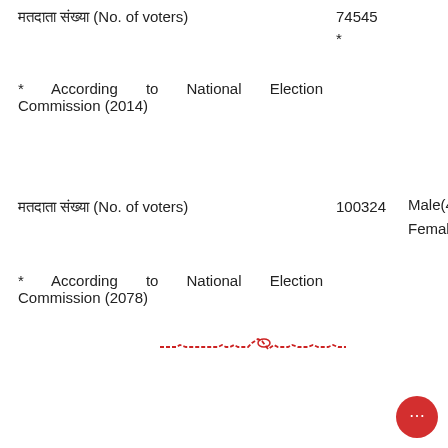मतदाता संख्या (No. of voters)   74545
*
* According to National Election Commission (2014)
मतदाता संख्या (No. of voters)   100324   Male(47408)
Female(52916)
* According to National Election Commission (2078)
[Figure (other): Red handwritten/stamped signature or initials line]